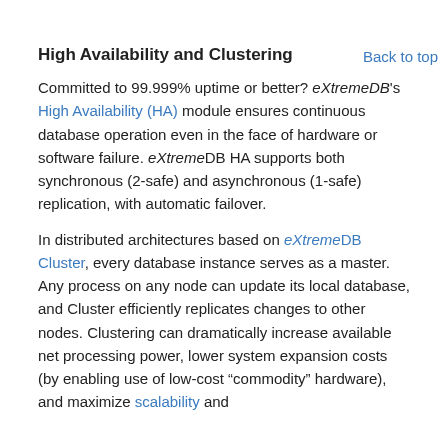Back to top
High Availability and Clustering
Committed to 99.999% uptime or better? eXtremeDB's High Availability (HA) module ensures continuous database operation even in the face of hardware or software failure. eXtremeDB HA supports both synchronous (2-safe) and asynchronous (1-safe) replication, with automatic failover.
In distributed architectures based on eXtremeDB Cluster, every database instance serves as a master. Any process on any node can update its local database, and Cluster efficiently replicates changes to other nodes. Clustering can dramatically increase available net processing power, lower system expansion costs (by enabling use of low-cost “commodity” hardware), and maximize scalability and